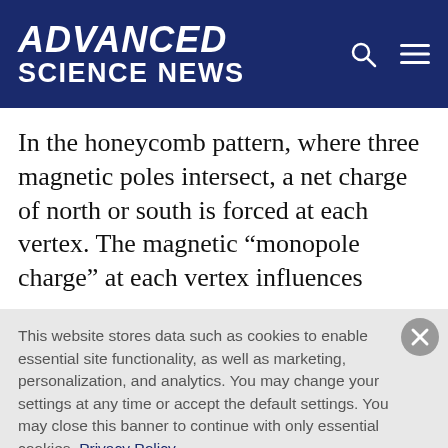ADVANCED SCIENCE NEWS
In the honeycomb pattern, where three magnetic poles intersect, a net charge of north or south is forced at each vertex. The magnetic “monopole charge” at each vertex influences
This website stores data such as cookies to enable essential site functionality, as well as marketing, personalization, and analytics. You may change your settings at any time or accept the default settings. You may close this banner to continue with only essential cookies. Privacy Policy
Manage Preferences
Accept All
Reject All